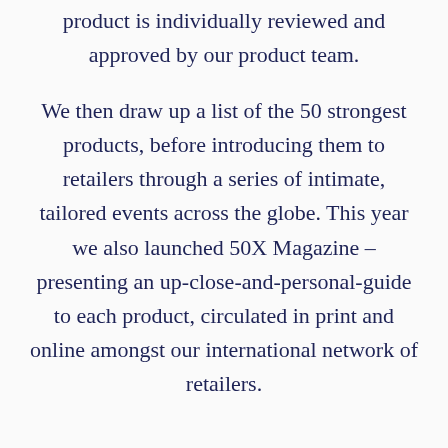product is individually reviewed and approved by our product team.

We then draw up a list of the 50 strongest products, before introducing them to retailers through a series of intimate, tailored events across the globe. This year we also launched 50X Magazine – presenting an up-close-and-personal-guide to each product, circulated in print and online amongst our international network of retailers.